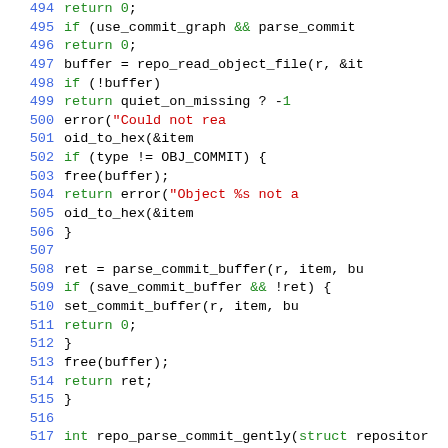[Figure (screenshot): Source code listing in C, lines 494-524, with syntax highlighting. Line numbers in blue, keywords in green, string literals in red, identifiers in black.]